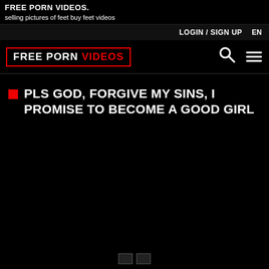FREE PORN VIDEOS.
selling pictures of feet buy feet videos
LOGIN / SIGN UP   EN
FREE PORN VIDEOS
PLS GOD, FORGIVE MY SINS, I PROMISE TO BECOME A GOOD GIRL